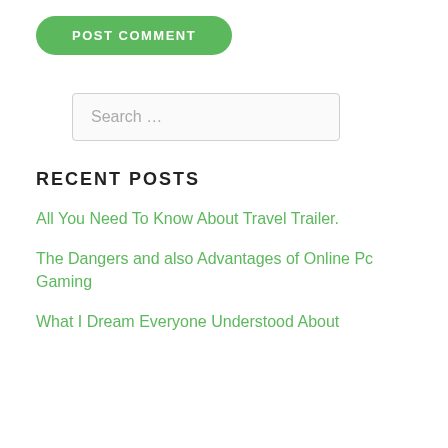[Figure (other): Green rounded button with white uppercase text 'POST COMMENT']
Search …
RECENT POSTS
All You Need To Know About Travel Trailer.
The Dangers and also Advantages of Online Pc Gaming
What I Dream Everyone Understood About